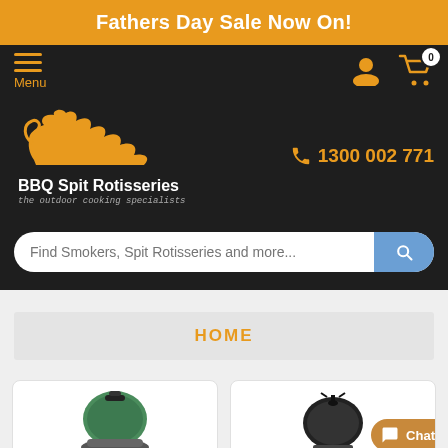Fathers Day Sale Now On!
Menu
[Figure (logo): BBQ Spit Rotisseries logo with stylized flame/animal graphic in orange, text 'BBQ Spit Rotisseries' in white and tagline 'the outdoor cooking specialists']
1300 002 771
Find Smokers, Spit Rotisseries and more...
HOME
[Figure (photo): Green ceramic kamado grill/smoker, partial view from top]
[Figure (photo): Black kettle grill, partial view]
Chat